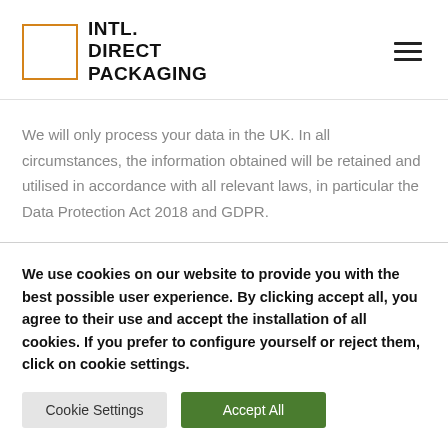INTL. DIRECT PACKAGING
We will only process your data in the UK. In all circumstances, the information obtained will be retained and utilised in accordance with all relevant laws, in particular the Data Protection Act 2018 and GDPR.
We use cookies on our website to provide you with the best possible user experience. By clicking accept all, you agree to their use and accept the installation of all cookies. If you prefer to configure yourself or reject them, click on cookie settings.
Cookie Settings
Accept All